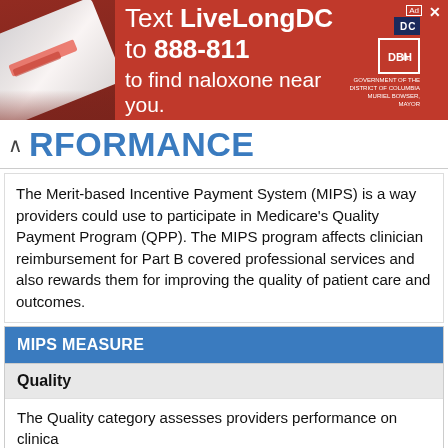[Figure (photo): Red advertisement banner: Text LiveLongDC to 888-811 to find naloxone near you. Features DC government logos and photo of naloxone packaging.]
RFORMANCE
The Merit-based Incentive Payment System (MIPS) is a way providers could use to participate in Medicare's Quality Payment Program (QPP). The MIPS program affects clinician reimbursement for Part B covered professional services and also rewards them for improving the quality of patient care and outcomes.
| MIPS MEASURE |
| --- |
| Quality |
| The Quality category assesses providers performance on clinical… |
| There are six collection types for MIPS quality measures: Electro… |
| Promoting Interoperability (PI) |
| The Interoperability category measures the providers ability to us… |
| The MIPS Interoperability measure focuses on the use of certifie… |